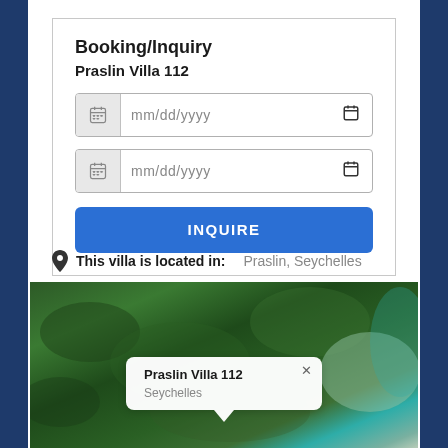Booking/Inquiry
Praslin Villa 112
[date input: mm/dd/yyyy]
[date input: mm/dd/yyyy]
INQUIRE
This villa is located in:  Praslin, Seychelles
[Figure (map): Satellite aerial map of Praslin, Seychelles with a popup tooltip showing 'Praslin Villa 112' and 'Seychelles' with a close (x) button.]